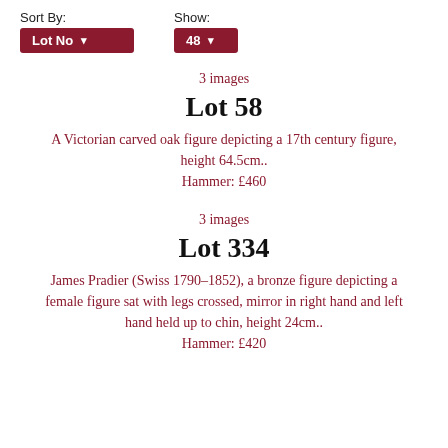Sort By: Lot No   Show: 48
3 images
Lot 58
A Victorian carved oak figure depicting a 17th century figure, height 64.5cm.. Hammer: £460
3 images
Lot 334
James Pradier (Swiss 1790–1852), a bronze figure depicting a female figure sat with legs crossed, mirror in right hand and left hand held up to chin, height 24cm.. Hammer: £420